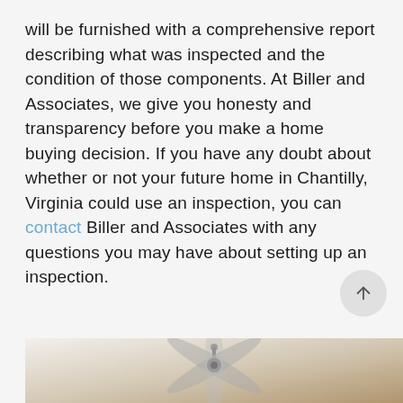will be furnished with a comprehensive report describing what was inspected and the condition of those components. At Biller and Associates, we give you honesty and transparency before you make a home buying decision. If you have any doubt about whether or not your future home in Chantilly, Virginia could use an inspection, you can contact Biller and Associates with any questions you may have about setting up an inspection.
[Figure (photo): Bottom portion of a room interior showing a ceiling fan, partially visible at the bottom of the page.]